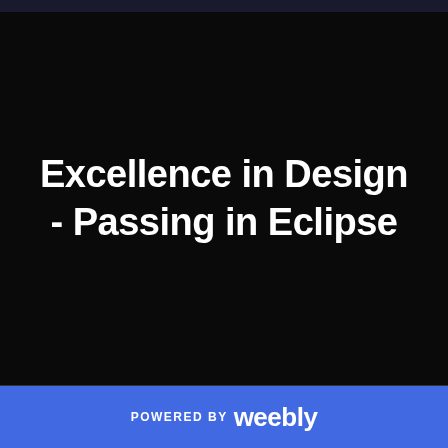Excellence in Design - Passing in Eclipse
POWERED BY weebly